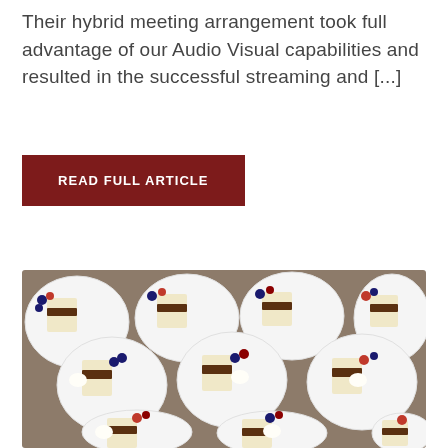Their hybrid meeting arrangement took full advantage of our Audio Visual capabilities and resulted in the successful streaming and [...]
READ FULL ARTICLE
[Figure (photo): Multiple white plates each holding a slice of layered chocolate and vanilla cake garnished with whipped cream, strawberries, blueberries, blackberries, and mint leaves, arranged on a granite surface.]